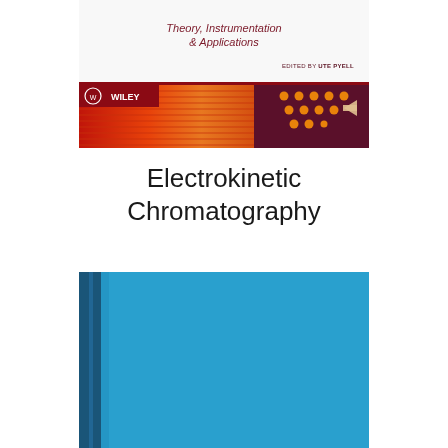[Figure (illustration): Top portion of a book cover for 'Electrokinetic Chromatography - Theory, Instrumentation & Applications', edited by Ute Pyell, published by Wiley. The cover features a red/orange gradient background on the left with horizontal lines, a dark maroon section on the right with orange dot pattern and a left-pointing arrow, and the Wiley logo at the bottom left.]
Electrokinetic Chromatography
[Figure (illustration): Bottom portion of a blue hardcover book spine and back cover. The book is shown from a slight angle with a dark blue spine on the left and bright sky-blue main cover/back.]